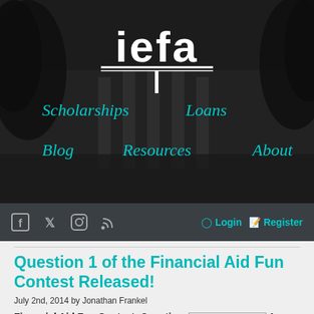[Figure (screenshot): IEFA website hero header with dark background showing a college campus, logo 'iefa' in white with underline, and teal navigation links: Scholarships, Loans, Blog, Resources, About]
iefa | Scholarships  Loans  Blog  Resources  About
Login  Register
Question 1 of the Financial Aid Fun Contest Released!
July 2nd, 2014 by Jonathan Frankel
Financial Aid Fun Contest: Question 1